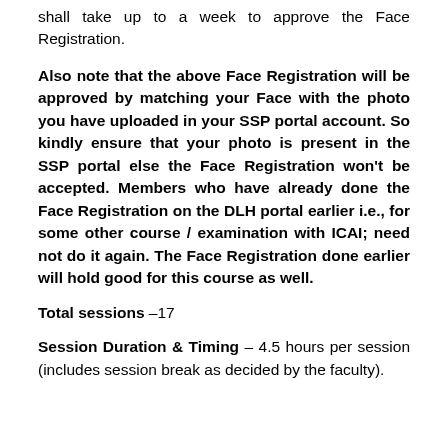shall take up to a week to approve the Face Registration.
Also note that the above Face Registration will be approved by matching your Face with the photo you have uploaded in your SSP portal account. So kindly ensure that your photo is present in the SSP portal else the Face Registration won't be accepted. Members who have already done the Face Registration on the DLH portal earlier i.e., for some other course / examination with ICAI; need not do it again. The Face Registration done earlier will hold good for this course as well.
Total sessions –17
Session Duration & Timing – 4.5 hours per session (includes session break as decided by the faculty).